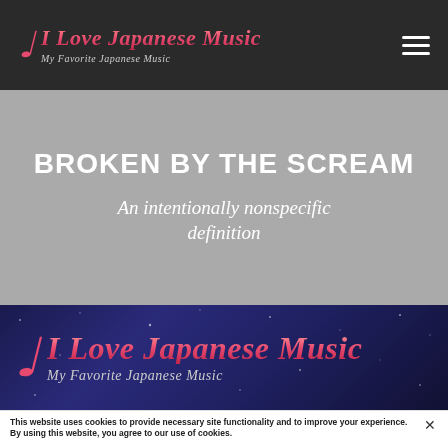I Love Japanese Music — My Favorite Japanese Music
BROKEN BY THE SCREAM
An intentionally nonspecific definition
[Figure (logo): I Love Japanese Music logo with treble clef on dark blue starry background banner]
This website uses cookies to provide necessary site functionality and to improve your experience. By using this website, you agree to our use of cookies.